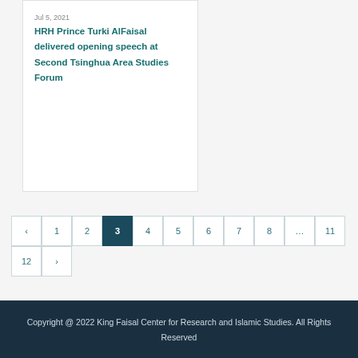Jul 5, 2021
HRH Prince Turki AlFaisal delivered opening speech at Second Tsinghua Area Studies Forum
‹ 1 2 3 4 5 6 7 8 ... 11 12 ›
Copyright @ 2022 King Faisal Center for Research and Islamic Studies. All Rights Reserved